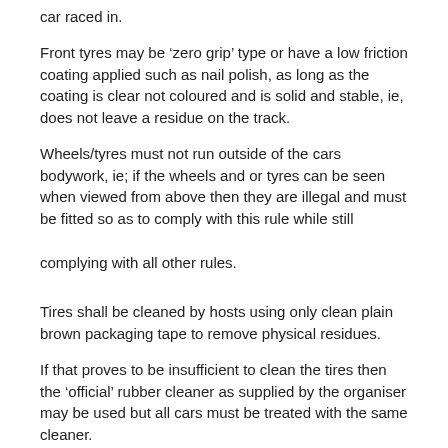car raced in.
Front tyres may be ‘zero grip’ type or have a low friction coating applied such as nail polish, as long as the coating is clear not coloured and is solid and stable, ie, does not leave a residue on the track.
Wheels/tyres must not run outside of the cars bodywork, ie; if the wheels and or tyres can be seen when viewed from above then they are illegal and must be fitted so as to comply with this rule while still complying with all other rules.
Tires shall be cleaned by hosts using only clean plain brown packaging tape to remove physical residues.
If that proves to be insufficient to clean the tires then the ‘official’ rubber cleaner as supplied by the organiser may be used but all cars must be treated with the same cleaner.
Nothing else is to be used to clean the tires.